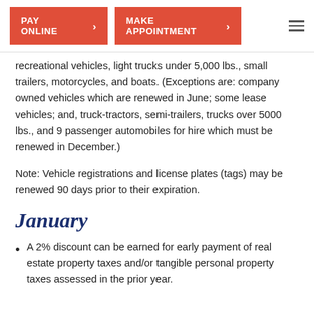PAY ONLINE | MAKE APPOINTMENT
recreational vehicles, light trucks under 5,000 lbs., small trailers, motorcycles, and boats. (Exceptions are: company owned vehicles which are renewed in June; some lease vehicles; and, truck-tractors, semi-trailers, trucks over 5000 lbs., and 9 passenger automobiles for hire which must be renewed in December.)
Note: Vehicle registrations and license plates (tags) may be renewed 90 days prior to their expiration.
January
A 2% discount can be earned for early payment of real estate property taxes and/or tangible personal property taxes assessed in the prior year.